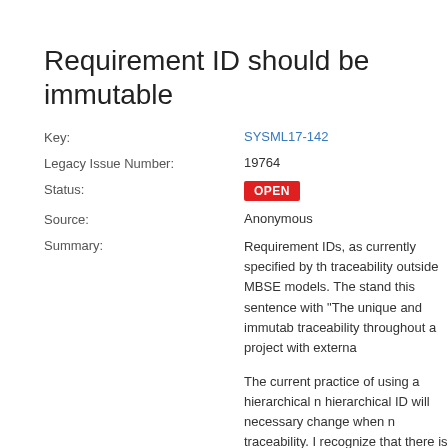Requirement ID should be immutable
Key: SYSML17-142
Legacy Issue Number: 19764
Status: OPEN
Source: Anonymous
Summary: Requirement IDs, as currently specified by th traceability outside MBSE models. The stand this sentence with "The unique and immutab traceability throughout a project with externa

The current practice of using a hierarchical n hierarchical ID will necessary change when n traceability. I recognize that there is also a n using this property. For that use case, I woul hierarchical identifier, used to organize requi

Since we now have two different IDs that se as the prefix in front of the name, depending